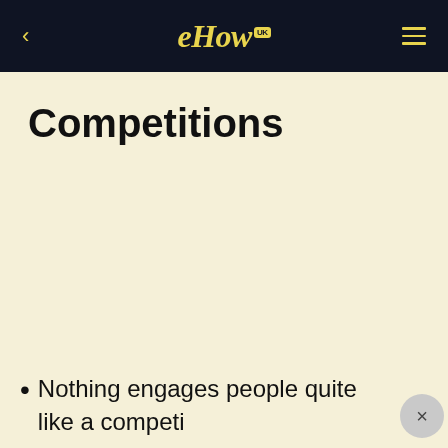eHow UK
Competitions
Nothing engages people quite like a competi...